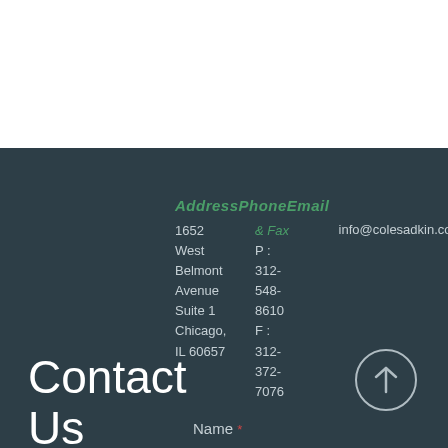Contact Us
AddressPhoneEmail
1652 West Belmont Avenue Suite 1 Chicago, IL 60657
& Fax info@colesadkin.com
P: 312-548-8610
F: 312-372-7076
Name *